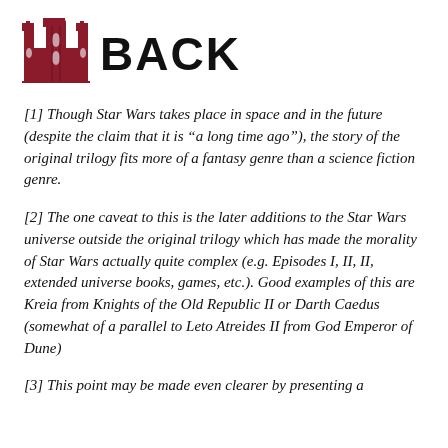BACK
[1] Though Star Wars takes place in space and in the future (despite the claim that it is “a long time ago”), the story of the original trilogy fits more of a fantasy genre than a science fiction genre.
[2] The one caveat to this is the later additions to the Star Wars universe outside the original trilogy which has made the morality of Star Wars actually quite complex (e.g. Episodes I, II, II, extended universe books, games, etc.). Good examples of this are Kreia from Knights of the Old Republic II or Darth Caedus (somewhat of a parallel to Leto Atreides II from God Emperor of Dune)
[3] This point may be made even clearer by presenting a